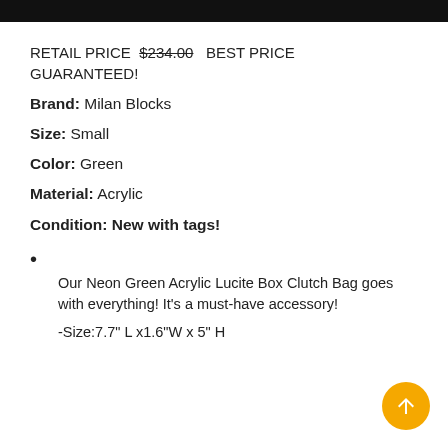RETAIL PRICE $234.00 BEST PRICE GUARANTEED!
Brand: Milan Blocks
Size: Small
Color: Green
Material: Acrylic
Condition: New with tags!
Our Neon Green Acrylic Lucite Box Clutch Bag goes with everything! It's a must-have accessory!
-Size:7.7" L x1.6"W x 5" H